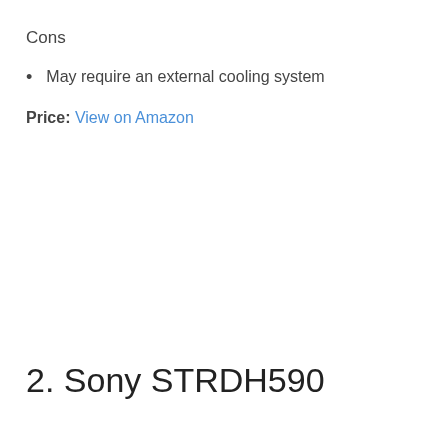Cons
May require an external cooling system
Price: View on Amazon
2. Sony STRDH590